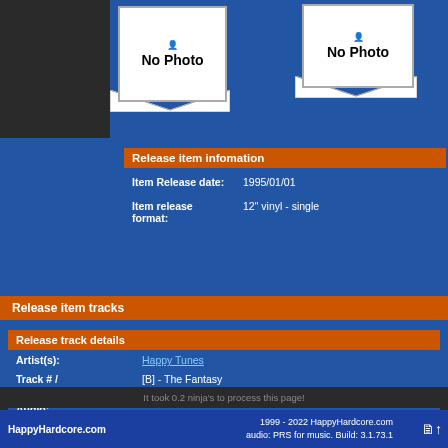[Figure (illustration): No Photo placeholder box with envelope decoration, left album cover]
[Figure (illustration): No Photo placeholder box with envelope decoration, right album cover]
Release item infomation
| Item Release date: | 1995/01/01 |
| Item release format: | 12" vinyl - single |
Release item tracks
Release track details
| Artist(s): | Happy Tunes |
| Track # / Name: | [B] - The Fantasy |
| Audio: |  |
| RingTone: |  |
| Creation Date: | 2008/01/16 |
| Last Updated: | 2008/01/16 |
| Lyrics: |  |
It took 0.2 ninja's to process this page!
HappyHardcore.com
1999 - 2022 HappyHardcore.com
audio: PRS for music. Build: 3.1.73.1